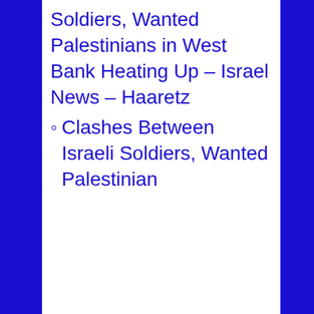Soldiers, Wanted Palestinians in West Bank Heating Up – Israel News – Haaretz
Clashes Between Israeli Soldiers, Wanted Palestinian